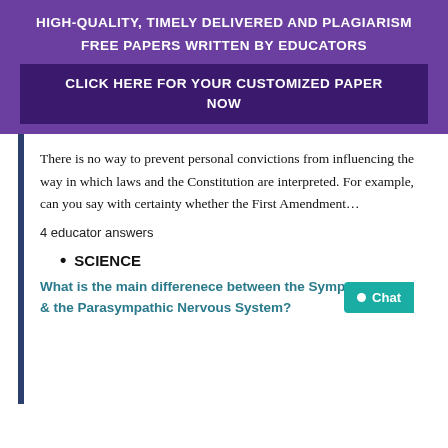HIGH-QUALITY, TIMELY DELIVERED AND PLAGIARISM FREE PAPERS WRITTEN BY EDUCATORS
CLICK HERE FOR YOUR CUSTOMIZED PAPER NOW
There is no way to prevent personal convictions from influencing the way in which laws and the Constitution are interpreted. For example, can you say with certainty whether the First Amendment…
4 educator answers
SCIENCE
What is the main differenece between the Sympathic & the Parasympathic Nervous System?